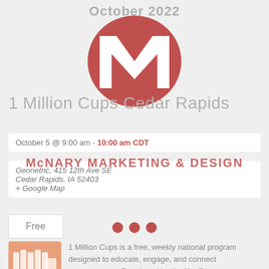October 2022
[Figure (logo): 1 Million Cups circular logo with a large white M on a rose/salmon colored oval background]
1 Million Cups Cedar Rapids
October 5 @ 9:00 am - 10:00 am CDT
Geonetric, 415 12th Ave SE
Cedar Rapids, IA 52403
+ Google Map
[Figure (logo): McNARY MARKETING & DESIGN watermark text overlay in red/salmon color]
[Figure (other): Three salmon/rose colored dots in a row]
Free
[Figure (logo): 1 Million Cups logo - square with orange/salmon background showing stylized cups and text '1MILLION CUPS']
1 Million Cups is a free, weekly national program designed to educate, engage, and connect entrepreneurs. Developed by the Kauffman Foundation, 1MC is